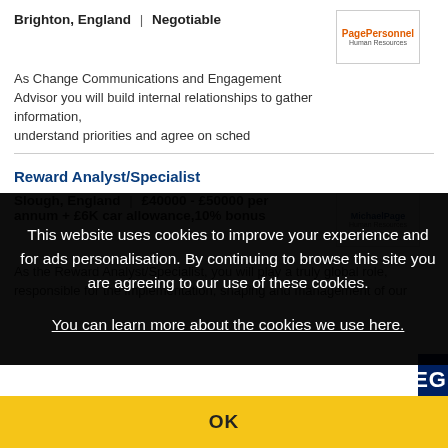Brighton, England | Negotiable
As Change Communications and Engagement Advisor you will build internal relationships to gather information, understand priorities and agree on sched
Reward Analyst/Specialist
Slough, England | £40000 - £50000 per annum + £6K car allowance,10% bonus
As the Reward Analyst/Specialist, you will play a truly global role, responsible for the implementation, shaping and management of our
This website uses cookies to improve your experience and for ads personalisation. By continuing to browse this site you are agreeing to our use of these cookies.
You can learn more about the cookies we use here.
OK